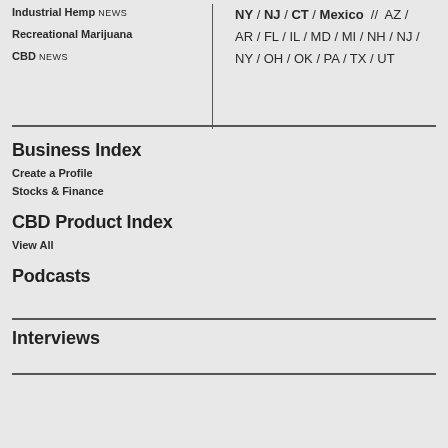Industrial Hemp NEWS
Recreational Marijuana
CBD News
NY / NJ / CT / Mexico // AZ / AR / FL / IL / MD / MI / NH / NJ / NY / OH / OK / PA / TX / UT
Business Index
Create a Profile
Stocks & Finance
CBD Product Index
View All
Podcasts
Interviews